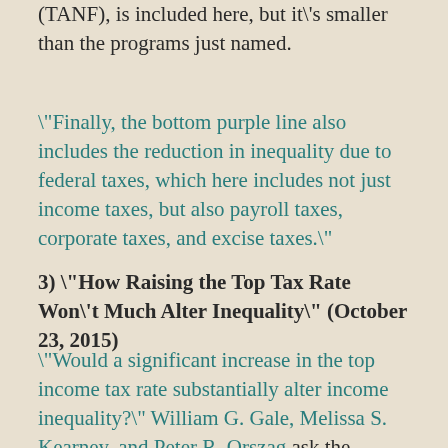(TANF), is included here, but it's smaller than the programs just named.
"Finally, the bottom purple line also includes the reduction in inequality due to federal taxes, which here includes not just income taxes, but also payroll taxes, corporate taxes, and excise taxes."
3) "How Raising the Top Tax Rate Won't Much Alter Inequality" (October 23, 2015)
"Would a significant increase in the top income tax rate substantially alter income inequality?" William G. Gale, Melissa S. Kearney, and Peter R. Orszag ask the question in a very short paper of this title published by